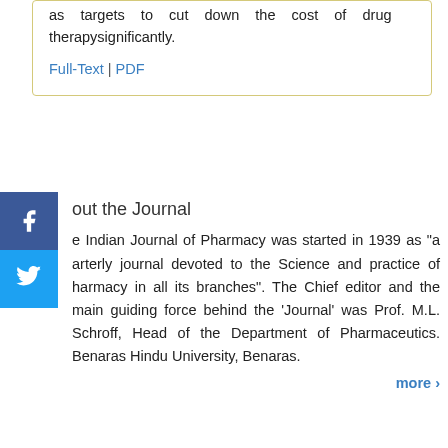as targets to cut down the cost of drug therapy significantly.
Full-Text | PDF
About the Journal
The Indian Journal of Pharmacy was started in 1939 as "a quarterly journal devoted to the Science and practice of Pharmacy in all its branches". The Chief editor and the main guiding force behind the 'Journal' was Prof. M.L. Schroff, Head of the Department of Pharmaceutics. Benaras Hindu University, Benaras.
more >